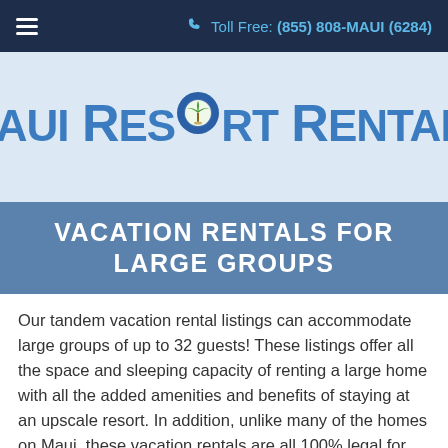Toll Free: (855) 808-MAUI (6284)
MAUI RESORT RENTALS
VACATION RENTALS FOR LARGE GROUPS
Our tandem vacation rental listings can accommodate large groups of up to 32 guests! These listings offer all the space and sleeping capacity of renting a large home with all the added amenities and benefits of staying at an upscale resort. In addition, unlike many of the homes on Maui, these vacation rentals are all 100% legal for short term